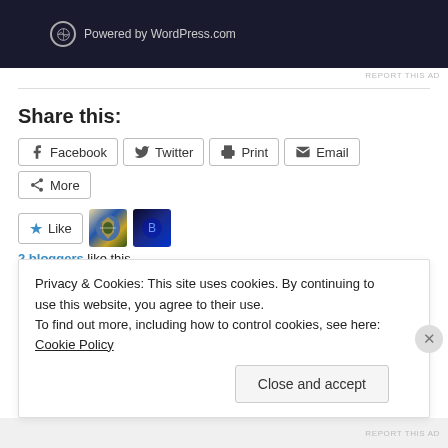[Figure (screenshot): WordPress.com powered banner with dark navy background and WordPress logo]
REPORT THIS AD
Share this:
Facebook  Twitter  Print  Email  More (share buttons)
Like  [2 blogger avatars]  2 bloggers like this.
Related
Privacy & Cookies: This site uses cookies. By continuing to use this website, you agree to their use.
To find out more, including how to control cookies, see here: Cookie Policy
Close and accept